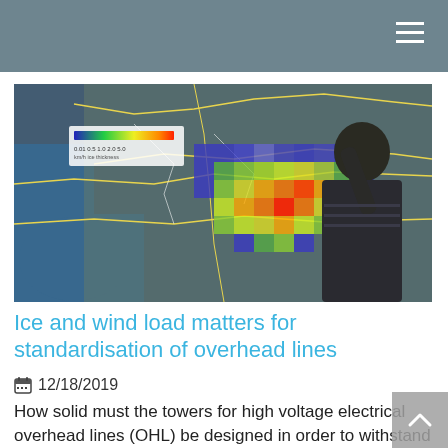[Figure (photo): A person standing in front of a large digital map display showing heat-map colored grid overlays on a geographic map of Central/Eastern Europe, with blue-to-red color scale legend visible in upper left.]
Ice and wind load matters for standardisation of overhead lines
12/18/2019
How solid must the towers for high voltage electrical overhead lines (OHL) be designed in order to withstand stress like wind, ice and wet snow in the...